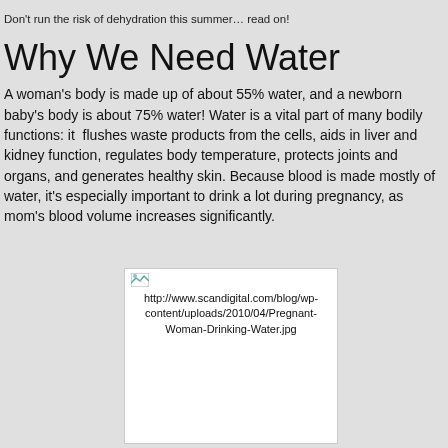Don't run the risk of dehydration this summer… read on!
Why We Need Water
A woman's body is made up of about 55% water, and a newborn baby's body is about 75% water! Water is a vital part of many bodily functions: it flushes waste products from the cells, aids in liver and kidney function, regulates body temperature, protects joints and organs, and generates healthy skin. Because blood is made mostly of water, it's especially important to drink a lot during pregnancy, as mom's blood volume increases significantly.
[Figure (photo): Broken image placeholder showing URL: http://www.scandigital.com/blog/wp-content/uploads/2010/04/Pregnant-Woman-Drinking-Water.jpg]